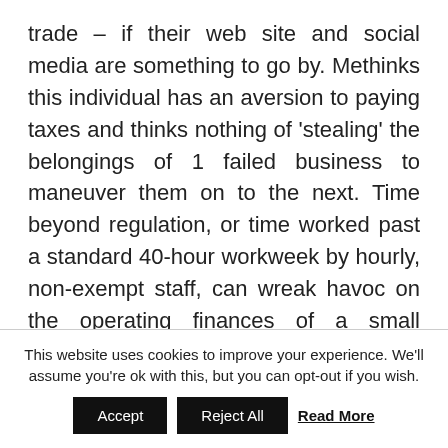trade – if their web site and social media are something to go by. Methinks this individual has an aversion to paying taxes and thinks nothing of 'stealing' the belongings of 1 failed business to maneuver them on to the next. Time beyond regulation, or time worked past a standard 40-hour workweek by hourly, non-exempt staff, can wreak havoc on the operating finances of a small business. It's a good idea to get recommendation out of your accountant as to which might be extra
This website uses cookies to improve your experience. We'll assume you're ok with this, but you can opt-out if you wish.
Accept   Reject All   Read More